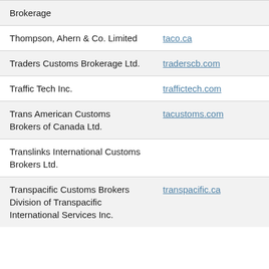| Company | Website |
| --- | --- |
| … Brokerage |  |
| Thompson, Ahern & Co. Limited | taco.ca |
| Traders Customs Brokerage Ltd. | traderscb.com |
| Traffic Tech Inc. | traffictech.com |
| Trans American Customs Brokers of Canada Ltd. | tacustoms.com |
| Translinks International Customs Brokers Ltd. |  |
| Transpacific Customs Brokers Division of Transpacific International Services Inc. | transpacific.ca |